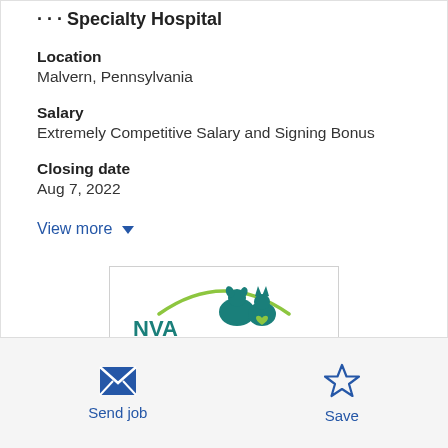Location
Malvern, Pennsylvania
Salary
Extremely Competitive Salary and Signing Bonus
Closing date
Aug 7, 2022
View more
[Figure (logo): NVA Compassion-First logo with dog and cat silhouette and green arc]
Send job
Save